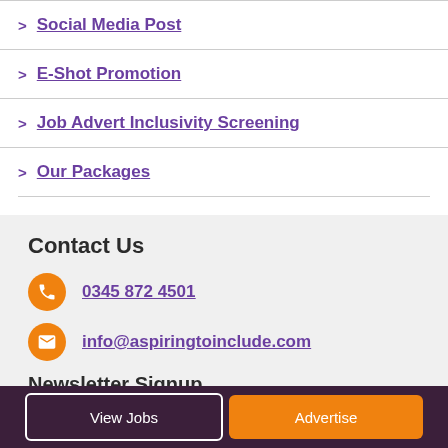Social Media Post
E-Shot Promotion
Job Advert Inclusivity Screening
Our Packages
Contact Us
0345 872 4501
info@aspiringtoinclude.com
Newsletter Signup
View Jobs   Advertise